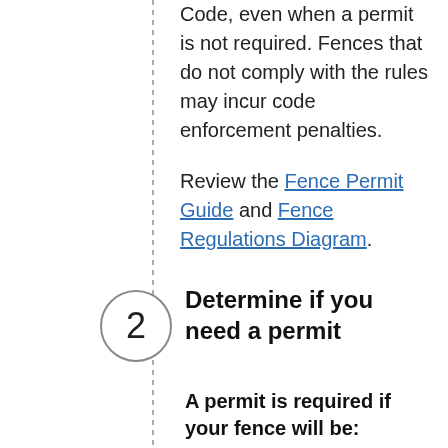Code, even when a permit is not required. Fences that do not comply with the rules may incur code enforcement penalties.

Review the Fence Permit Guide and Fence Regulations Diagram.
Determine if you need a permit
A permit is required if your fence will be: